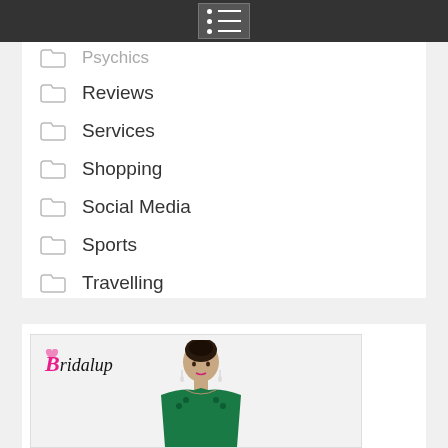Navigation menu bar
Psychics
Reviews
Services
Shopping
Social Media
Sports
Travelling
[Figure (photo): Bridalup brand image showing a woman in a green dress with the Bridalup logo]